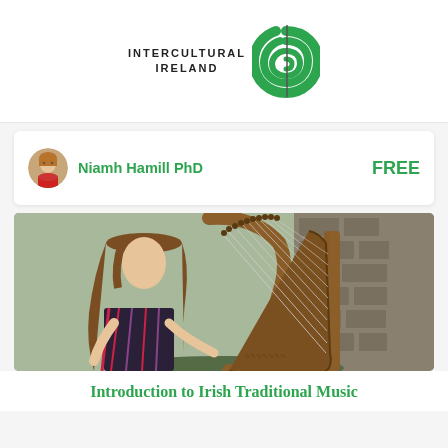[Figure (logo): Intercultural Ireland logo — bold sans-serif text 'INTERCULTURAL IRELAND' to the left of a green concentric-arc swirl emblem]
Niamh Hamill PhD
FREE
[Figure (photo): A woman with long hair playing a wooden harp outdoors against a stone wall background]
Introduction to Irish Traditional Music